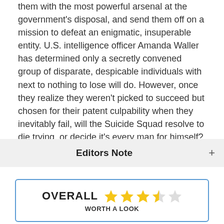them with the most powerful arsenal at the government's disposal, and send them off on a mission to defeat an enigmatic, insuperable entity. U.S. intelligence officer Amanda Waller has determined only a secretly convened group of disparate, despicable individuals with next to nothing to lose will do. However, once they realize they weren't picked to succeed but chosen for their patent culpability when they inevitably fail, will the Suicide Squad resolve to die trying, or decide it's every man for himself?
Editors Note
[Figure (other): Overall rating box showing OVERALL with 3.5 out of 5 stars and text WORTH A LOOK]